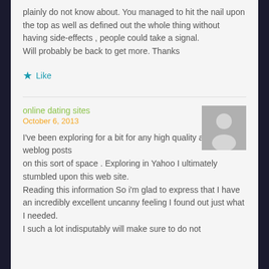plainly do not know about. You managed to hit the nail upon the top as well as defined out the whole thing without having side-effects , people could take a signal.
Will probably be back to get more. Thanks
★ Like
online dating sites
October 6, 2013
[Figure (illustration): Gray placeholder avatar silhouette icon]
I've been exploring for a bit for any high quality articles or weblog posts on this sort of space . Exploring in Yahoo I ultimately stumbled upon this web site.
Reading this information So i'm glad to express that I have an incredibly excellent uncanny feeling I found out just what I needed.
I such a lot indisputably will make sure to do not